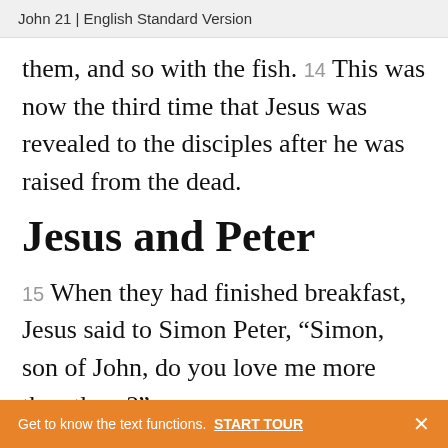John 21 | English Standard Version
them, and so with the fish. 14 This was now the third time that Jesus was revealed to the disciples after he was raised from the dead.
Jesus and Peter
15 When they had finished breakfast, Jesus said to Simon Peter, “Simon, son of John, do you love me more than these?”
Get to know the text functions. START TOUR